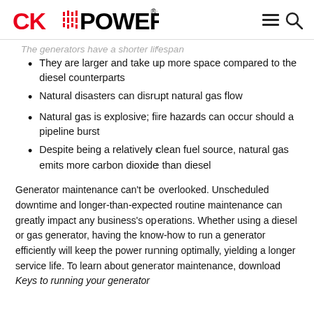CK POWER
The generators have a shorter lifespan
They are larger and take up more space compared to the diesel counterparts
Natural disasters can disrupt natural gas flow
Natural gas is explosive; fire hazards can occur should a pipeline burst
Despite being a relatively clean fuel source, natural gas emits more carbon dioxide than diesel
Generator maintenance can't be overlooked. Unscheduled downtime and longer-than-expected routine maintenance can greatly impact any business's operations. Whether using a diesel or gas generator, having the know-how to run a generator efficiently will keep the power running optimally, yielding a longer service life. To learn about generator maintenance, download Keys to running your generator